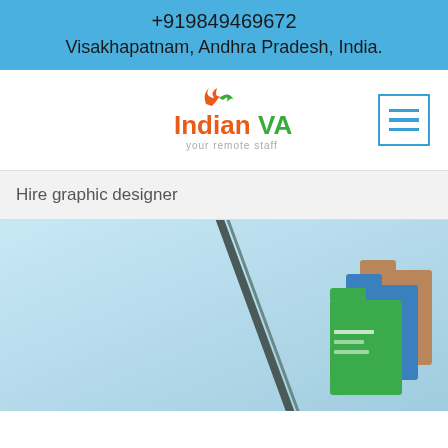+919849469672
Visakhapatnam, Andhra Pradesh, India.
[Figure (logo): IndianVA logo with orange and green swoosh above text 'IndianVA' in orange and green, with tagline 'your remote staff' in grey]
Hire graphic designer
[Figure (photo): Hero image showing a light blue background with a dark diagonal line (monitor/device screen edge) and colourful stacked folders (green, blue, brown/tan) in the right portion of the image]